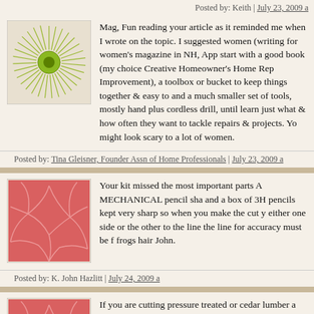Posted by: Keith | July 23, 2009 a
[Figure (illustration): Green sunburst/circle avatar icon]
Mag, Fun reading your article as it reminded me when I wrote on the topic. I suggested women (writing for women's magazine in NH, App start with a good book (my choice Creative Homeowner's Home Rep Improvement), a toolbox or bucket to keep things together & easy to and a much smaller set of tools, mostly hand plus cordless drill, until learn just what & how often they want to tackle repairs & projects. Yo might look scary to a lot of women.
Posted by: Tina Gleisner, Founder Assn of Home Professionals | July 23, 2009 a
[Figure (illustration): Pink cracked/leaf pattern avatar icon]
Your kit missed the most important parts A MECHANICAL pencil sha and a box of 3H pencils kept very sharp so when you make the cut y either one side or the other to the line the line for accuracy must be f frogs hair John.
Posted by: K. John Hazlitt | July 24, 2009 a
[Figure (illustration): Pink cracked/leaf pattern avatar icon]
If you are cutting pressure treated or cedar lumber a simple dust ma do you any good you must wear one with fresh charcoal filters J and keep the filters wrapped in plastic when not in use the lungs do not r